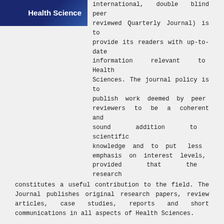[Figure (logo): Health Science journal logo with dark blue background]
international, double blind peer reviewed Quarterly Journal) is to provide its readers with up-to-date information relevant to Health Sciences. The journal policy is to publish work deemed by peer reviewers to be a coherent and sound addition to scientific knowledge and to put less emphasis on interest levels, provided that the research constitutes a useful contribution to the field. The Journal publishes original research papers, review articles, case studies, reports and short communications in all aspects of Health Sciences.
Stay tuned with us
[Figure (infographic): Social media icons row: Facebook, Twitter, Google+, LinkedIn, YouTube, Instagram, and a scroll-to-top button]